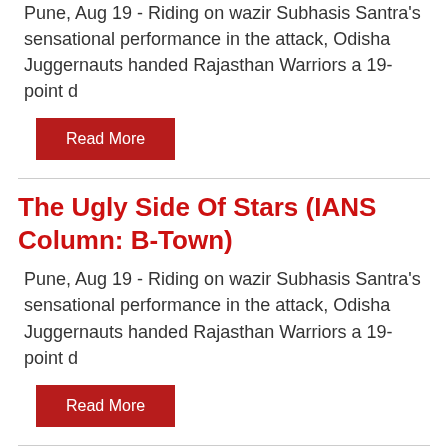Pune, Aug 19 - Riding on wazir Subhasis Santra's sensational performance in the attack, Odisha Juggernauts handed Rajasthan Warriors a 19-point d
Read More
The Ugly Side Of Stars (IANS Column: B-Town)
Pune, Aug 19 - Riding on wazir Subhasis Santra's sensational performance in the attack, Odisha Juggernauts handed Rajasthan Warriors a 19-point d
Read More
Lisa Kudrow felt insecure when she filmed with 'Friends' female co-stars